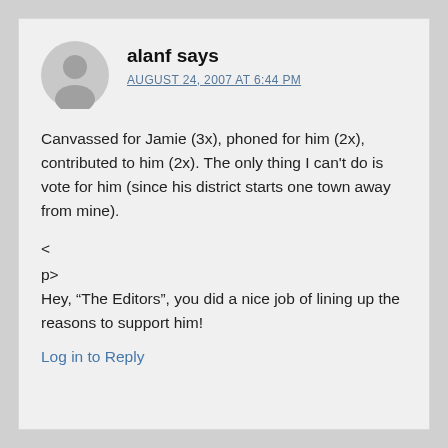[Figure (illustration): Generic grey user avatar circle with silhouette of a person]
alanf says
AUGUST 24, 2007 AT 6:44 PM
Canvassed for Jamie (3x), phoned for him (2x), contributed to him (2x). The only thing I can't do is vote for him (since his district starts one town away from mine).
<
p>
Hey, "The Editors", you did a nice job of lining up the reasons to support him!
Log in to Reply